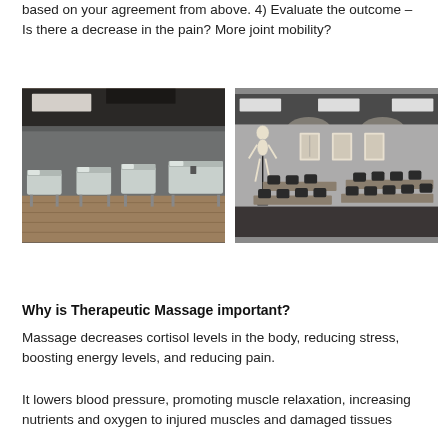based on your agreement from above. 4) Evaluate the outcome – Is there a decrease in the pain? More joint mobility?
[Figure (photo): Massage therapy room with multiple massage beds/tables arranged in a row on a wood floor with grey walls.]
[Figure (photo): Classroom with rows of tables and chairs, anatomy posters on the wall, and a skeleton model, grey walls and dark carpet.]
Why is Therapeutic Massage important?
Massage decreases cortisol levels in the body, reducing stress, boosting energy levels, and reducing pain.
It lowers blood pressure, promoting muscle relaxation, increasing nutrients and oxygen to injured muscles and damaged tissues